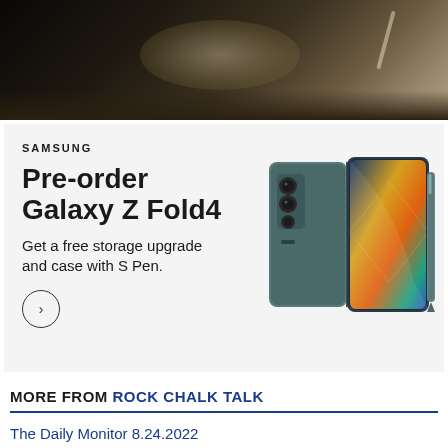[Figure (photo): Dark photo of a person wearing a leather jacket with a bag strap, partially visible at the top of the page]
[Figure (illustration): Samsung advertisement banner with light gray background. Shows Samsung logo, Pre-order Galaxy Z Fold4 headline, promotional text about free storage upgrade and case with S Pen, a circular arrow button, and a product image of the Galaxy Z Fold4 phone in teal/gray color with S Pen]
MORE FROM ROCK CHALK TALK
The Daily Monitor 8.24.2022